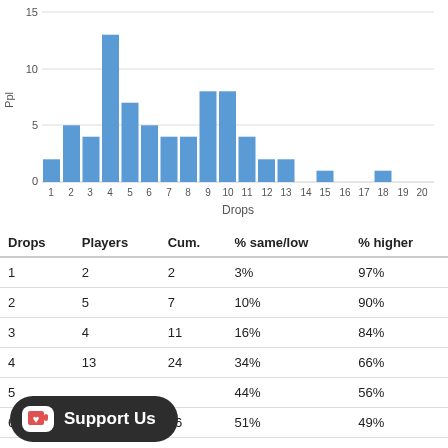[Figure (histogram): ]
| Drops | Players | Cum. | % same/low | % higher |
| --- | --- | --- | --- | --- |
| 1 | 2 | 2 | 3% | 97% |
| 2 | 5 | 7 | 10% | 90% |
| 3 | 4 | 11 | 16% | 84% |
| 4 | 13 | 24 | 34% | 66% |
| 5 |  |  | 44% | 56% |
| 6 | 5 | 36 | 51% | 49% |